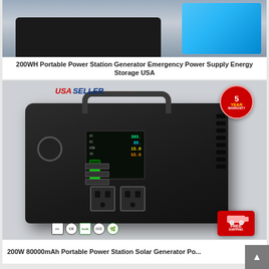[Figure (photo): Partial view of a portable power station with a smartphone being charged, product listing image]
200WH Portable Power Station Generator Emergency Power Supply Energy Storage USA
[Figure (photo): Portable power station with USA SELLER badge, 5 YEAR WARRANTY seal, Free Shipping badge, certification logos (FC, CE, RoHS, CCC, leaf), and product display showing LCD screen with AC/DC/USB outputs]
200W 80000mAh Portable Power Station Solar Generator Po...